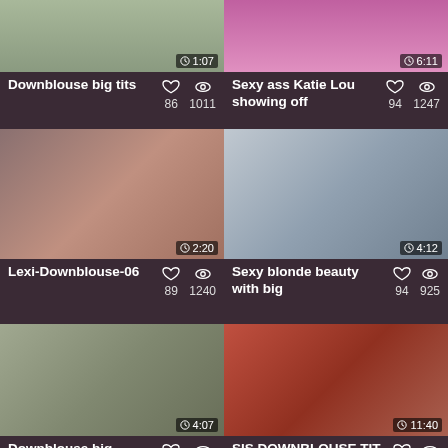[Figure (screenshot): Video thumbnail grid item - Downblouse big tits, duration 1:07, likes 86, views 1011]
[Figure (screenshot): Video thumbnail grid item - Sexy ass Katie Lou showing off, duration 6:11, likes 94, views 1247]
[Figure (screenshot): Video thumbnail grid item - Lexi-Downblouse-06, duration 2:20, likes 89, views 1240]
[Figure (screenshot): Video thumbnail grid item - Sexy blonde beauty with big, duration 4:12, likes 94, views 925]
[Figure (screenshot): Video thumbnail grid item - Downblouse big boobs, duration 4:07, likes 94, views 3085]
[Figure (screenshot): Video thumbnail grid item - SIS DOWNBLOUSE TIT WORSHIP, duration 11:40, likes 100, views 585]